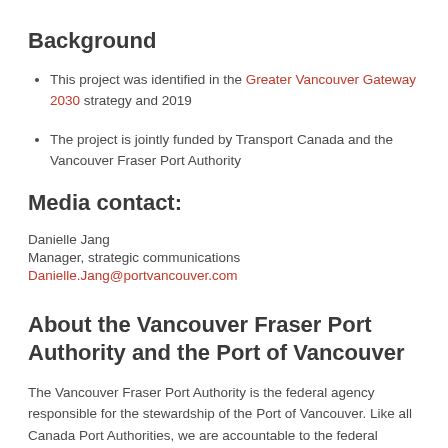Background
This project was identified in the Greater Vancouver Gateway 2030 strategy and 2019
The project is jointly funded by Transport Canada and the Vancouver Fraser Port Authority
Media contact:
Danielle Jang
Manager, strategic communications
Danielle.Jang@portvancouver.com
About the Vancouver Fraser Port Authority and the Port of Vancouver
The Vancouver Fraser Port Authority is the federal agency responsible for the stewardship of the Port of Vancouver. Like all Canada Port Authorities, we are accountable to the federal minister of transport, and operate pursuant to the Canada Marine Act with a mandate to enable Canada's trade through the Port of